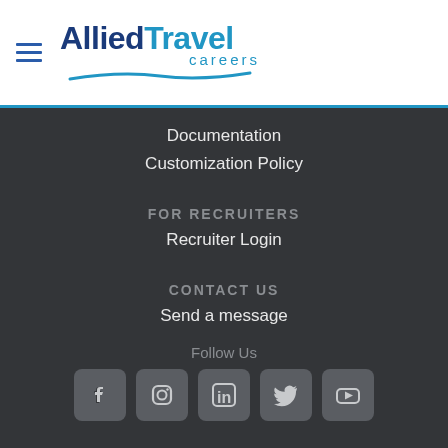[Figure (logo): Allied Travel Careers logo with hamburger menu icon]
Documentation
Customization Policy
FOR RECRUITERS
Recruiter Login
CONTACT US
Send a message
Follow Us
[Figure (infographic): Social media icons: Facebook, Instagram, LinkedIn, Twitter, YouTube]